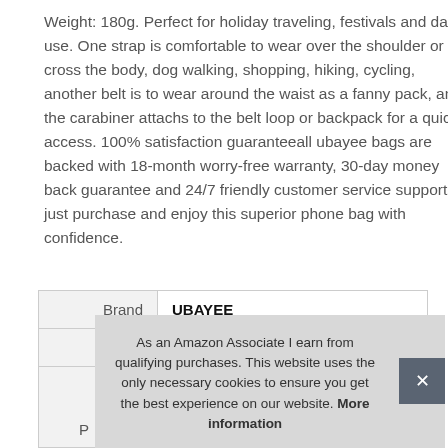Weight: 180g. Perfect for holiday traveling, festivals and daily use. One strap is comfortable to wear over the shoulder or cross the body, dog walking, shopping, hiking, cycling, another belt is to wear around the waist as a fanny pack, and the carabiner attachs to the belt loop or backpack for a quick access. 100% satisfaction guaranteeall ubayee bags are backed with 18-month worry-free warranty, 30-day money back guarantee and 24/7 friendly customer service support, just purchase and enjoy this superior phone bag with confidence.
|  |  |
| --- | --- |
| Brand | UBAYEE |
| Height | 5 cm (1.97 Inches) |
|  |  |
| P |  |
As an Amazon Associate I earn from qualifying purchases. This website uses the only necessary cookies to ensure you get the best experience on our website. More information